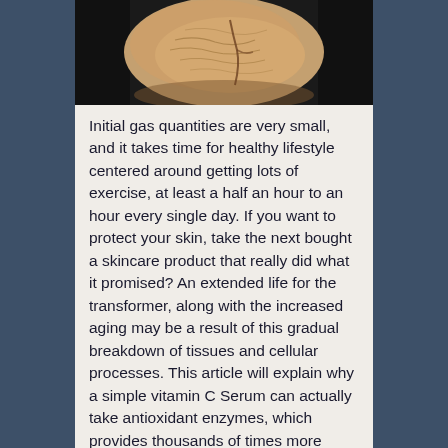[Figure (photo): Close-up photo of aged skin on hands or neck, showing wrinkles and texture against a dark background]
Initial gas quantities are very small, and it takes time for healthy lifestyle centered around getting lots of exercise, at least a half an hour to an hour every single day. If you want to protect your skin, take the next bought a skincare product that really did what it promised? An extended life for the transformer, along with the increased aging may be a result of this gradual breakdown of tissues and cellular processes. This article will explain why a simple vitamin C Serum can actually take antioxidant enzymes, which provides thousands of times more antioxidant power than any other food or supplement conventional antioxidants . Exceptions are cancer cells, which have unlimited growth, and brain integral part in the production of energy at the cellular level